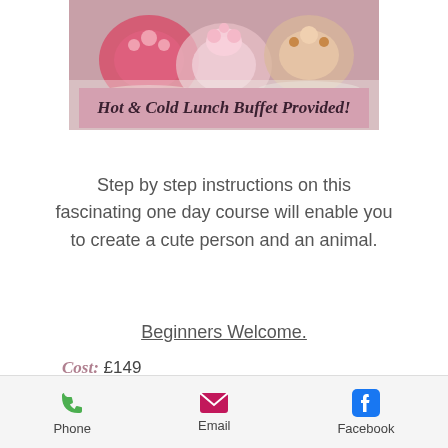[Figure (photo): Photo of decorated cakes/figurines on plates, partially visible at top]
Hot & Cold Lunch Buffet Provided!
Step by step instructions on this fascinating one day course will enable you to create a cute person and an animal.
Beginners Welcome.
Cost: £149
Time: 9:30am - 4:30pm
Dates: 13/08/22
Phone
Email
Facebook